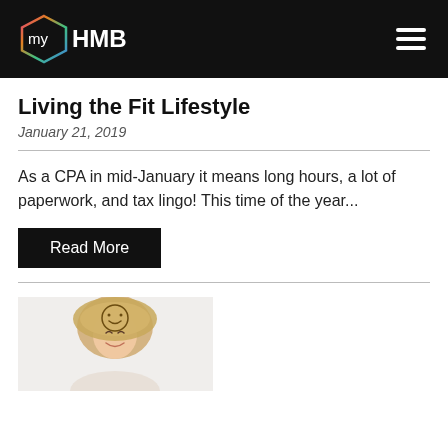myHMB
Living the Fit Lifestyle
January 21, 2019
As a CPA in mid-January it means long hours, a lot of paperwork, and tax lingo! This time of the year...
Read More
[Figure (photo): Smiling blonde woman holding a round wicker hat with a smiley face design, against a light background]